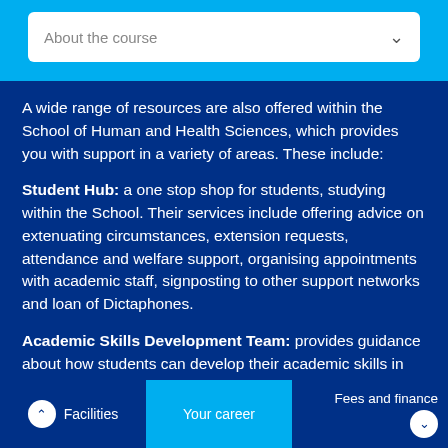About the course
A wide range of resources are also offered within the School of Human and Health Sciences, which provides you with support in a variety of areas. These include:
Student Hub: a one stop shop for students, studying within the School. Their services include offering advice on extenuating circumstances, extension requests, attendance and welfare support, organising appointments with academic staff, signposting to other support networks and loan of Dictaphones.
Academic Skills Development Team: provides guidance about how students can develop their academic skills in order to improve their grades. The team provide support with
Facilities | Your career | Fees and finance